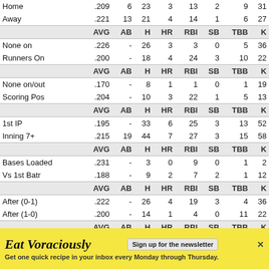|  | AVG | AB | H | HR | RBI | SB | TBB | K |
| --- | --- | --- | --- | --- | --- | --- | --- | --- |
| Home | .209 | 6 | 23 | 3 | 13 | 2 | 9 | 31 |
| Away | .221 | 13 | 21 | 4 | 14 | 1 | 6 | 27 |
|  | AVG | AB | H | HR | RBI | SB | TBB | K |
| None on | .226 | - | 26 | 3 | 3 | 0 | 5 | 36 |
| Runners On | .200 | - | 18 | 4 | 24 | 3 | 10 | 22 |
|  | AVG | AB | H | HR | RBI | SB | TBB | K |
| None on/out | .170 | - | 8 | 1 | 1 | 0 | 1 | 19 |
| Scoring Pos | .204 | - | 10 | 3 | 22 | 1 | 5 | 13 |
|  | AVG | AB | H | HR | RBI | SB | TBB | K |
| 1st IP | .195 | - | 33 | 6 | 25 | 3 | 13 | 52 |
| Inning 7+ | .215 | 19 | 44 | 7 | 27 | 3 | 15 | 58 |
|  | AVG | AB | H | HR | RBI | SB | TBB | K |
| Bases Loaded | .231 | - | 3 | 0 | 9 | 0 | 1 | 2 |
| Vs 1st Batr | .188 | - | 9 | 2 | 7 | 2 | 1 | 12 |
|  | AVG | AB | H | HR | RBI | SB | TBB | K |
| After (0-1) | .222 | - | 26 | 4 | 19 | 3 | 4 | 36 |
| After (1-0) | .200 | - | 14 | 1 | 4 | 0 | 11 | 22 |
|  | AVG | AB | H | HR | RBI | SB | TBB | K |
| Pitch 1-15 | .164 | - | 22 | 5 | 14 | 2 | 0 | 47 |
[Figure (other): Advertisement banner: 'Eat Voraciously' newsletter sign-up. Yellow background with text: Get one quick recipe in your inbox every Monday through Thursday.]